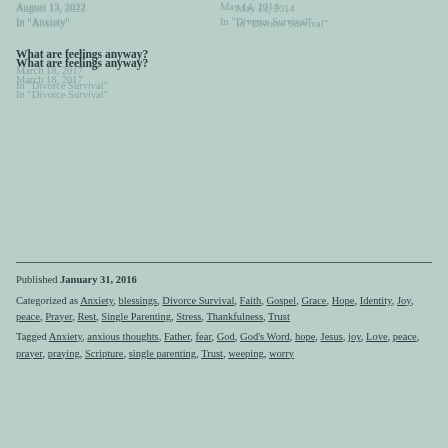August 13, 2022
In "Anxiety"
May 14, 2014
In "Divorce Survival"
What are feelings anyway?
March 18, 2017
In "Divorce Survival"
Published January 31, 2016
Categorized as Anxiety, blessings, Divorce Survival, Faith, Gospel, Grace, Hope, Identity, Joy, peace, Prayer, Rest, Single Parenting, Stress, Thankfulness, Trust
Tagged Anxiety, anxious thoughts, Father, fear, God, God's Word, hope, Jesus, joy, Love, peace, prayer, praying, Scripture, single parenting, Trust, weeping, worry